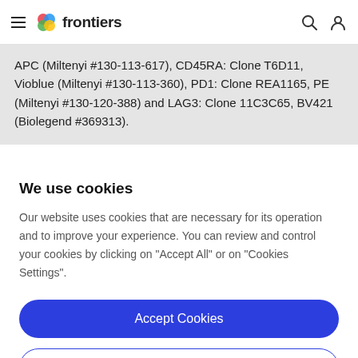frontiers
APC (Miltenyi #130-113-617), CD45RA: Clone T6D11, Vioblue (Miltenyi #130-113-360), PD1: Clone REA1165, PE (Miltenyi #130-120-388) and LAG3: Clone 11C3C65, BV421 (Biolegend #369313).
We use cookies
Our website uses cookies that are necessary for its operation and to improve your experience. You can review and control your cookies by clicking on "Accept All" or on "Cookies Settings".
Accept Cookies
Cookies Settings